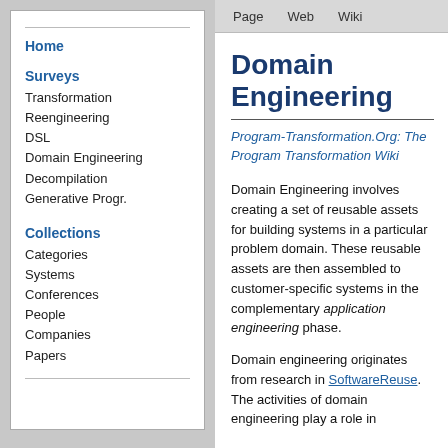Home
Surveys
Transformation
Reengineering
DSL
Domain Engineering
Decompilation
Generative Progr.
Collections
Categories
Systems
Conferences
People
Companies
Papers
Page   Web   Wiki
Domain Engineering
Program-Transformation.Org: The Program Transformation Wiki
Domain Engineering involves creating a set of reusable assets for building systems in a particular problem domain. These reusable assets are then assembled to customer-specific systems in the complementary application engineering phase.
Domain engineering originates from research in SoftwareReuse. The activities of domain engineering play a role in